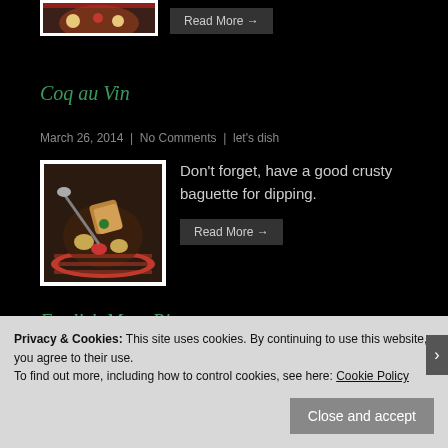[Figure (photo): Food photo thumbnail at top (partially visible) with a bowl of stew/dish]
Read More →
Coq au Vin
March 26, 2014 | No Comments | let's dish
[Figure (photo): Photo of Coq au Vin dish in a bowl with bread, stew, vegetables]
Don't forget, have a good crusty baguette for dipping.
Read More →
English Meat Pie
Privacy & Cookies: This site uses cookies. By continuing to use this website, you agree to their use. To find out more, including how to control cookies, see here: Cookie Policy
Close and accept